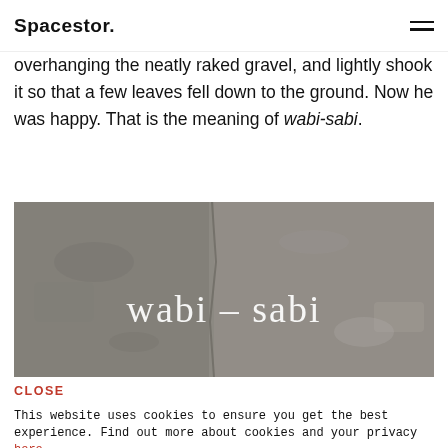Spacestor.
overhanging the neatly raked gravel, and lightly shook it so that a few leaves fell down to the ground. Now he was happy. That is the meaning of wabi-sabi.
[Figure (photo): Grey stone/slate surface with the text 'wabi - sabi' written in white serif font overlaid on the image.]
CLOSE
This website uses cookies to ensure you get the best experience. Find out more about cookies and your privacy here.